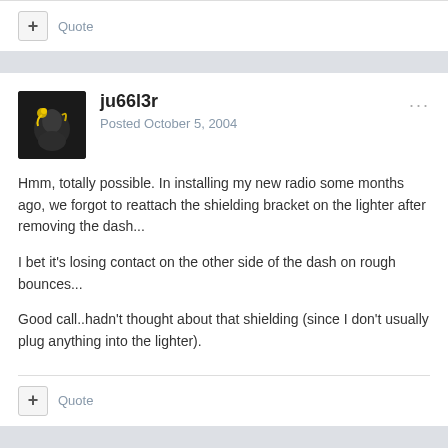+ Quote
ju66l3r
Posted October 5, 2004
Hmm, totally possible. In installing my new radio some months ago, we forgot to reattach the shielding bracket on the lighter after removing the dash...

I bet it's losing contact on the other side of the dash on rough bounces...

Good call..hadn't thought about that shielding (since I don't usually plug anything into the lighter).
+ Quote